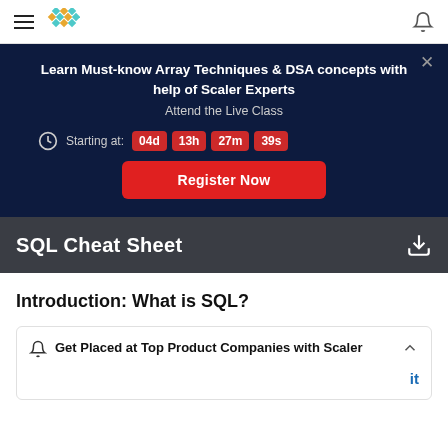≡ [Scaler Logo] [Bell Icon]
Learn Must-know Array Techniques & DSA concepts with help of Scaler Experts
Attend the Live Class
Starting at: 04d 13h 27m 39s
Register Now
SQL Cheat Sheet
Introduction: What is SQL?
Get Placed at Top Product Companies with Scaler